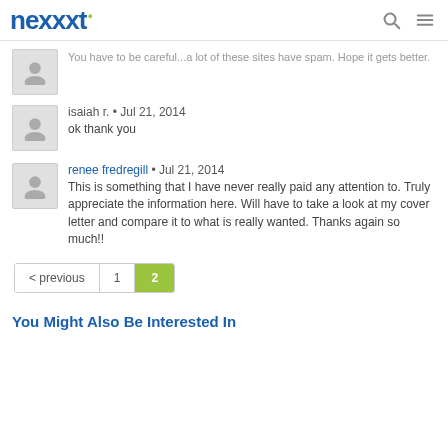nexxt
You have to be careful...a lot of these sites have spam. Hope it gets better.
isaiah r. • Jul 21, 2014
ok thank you
renee fredregill • Jul 21, 2014
This is something that I have never really paid any attention to. Truly appreciate the information here. Will have to take a look at my cover letter and compare it to what is really wanted. Thanks again so much!!
< previous  1  2
You Might Also Be Interested In